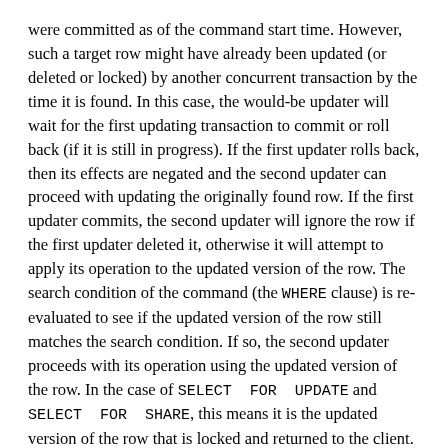were committed as of the command start time. However, such a target row might have already been updated (or deleted or locked) by another concurrent transaction by the time it is found. In this case, the would-be updater will wait for the first updating transaction to commit or roll back (if it is still in progress). If the first updater rolls back, then its effects are negated and the second updater can proceed with updating the originally found row. If the first updater commits, the second updater will ignore the row if the first updater deleted it, otherwise it will attempt to apply its operation to the updated version of the row. The search condition of the command (the WHERE clause) is re-evaluated to see if the updated version of the row still matches the search condition. If so, the second updater proceeds with its operation using the updated version of the row. In the case of SELECT FOR UPDATE and SELECT FOR SHARE, this means it is the updated version of the row that is locked and returned to the client.
Because of the above rule, it is possible for an updating command to see an inconsistent snapshot: it can see the